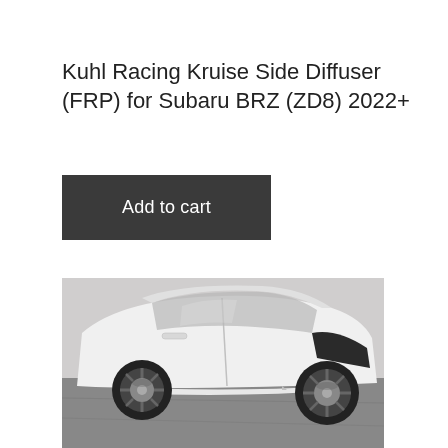Kuhl Racing Kruise Side Diffuser (FRP) for Subaru BRZ (ZD8) 2022+
Add to cart
[Figure (photo): White Subaru BRZ (ZD8) 2022+ with Kuhl Racing Kruise side diffuser installed, showing the side skirt area with low-profile body kit on dark wheels, photographed from a low angle on a paved surface.]